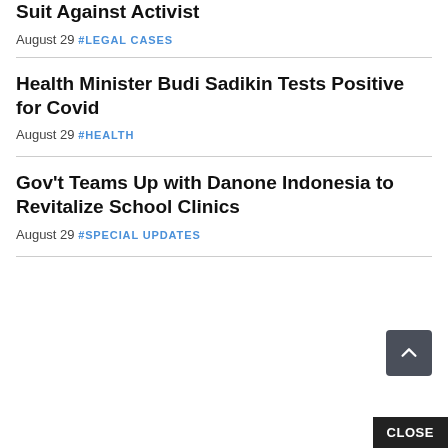Suit Against Activist
August 29 #LEGAL CASES
Health Minister Budi Sadikin Tests Positive for Covid
August 29 #HEALTH
Gov't Teams Up with Danone Indonesia to Revitalize School Clinics
August 29 #SPECIAL UPDATES